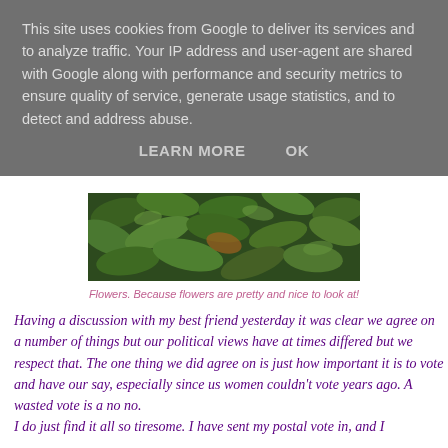This site uses cookies from Google to deliver its services and to analyze traffic. Your IP address and user-agent are shared with Google along with performance and security metrics to ensure quality of service, generate usage statistics, and to detect and address abuse.
LEARN MORE   OK
[Figure (photo): Close-up photo of green leaves and foliage, with some brown dried portions visible among the greenery.]
Flowers. Because flowers are pretty and nice to look at!
Having a discussion with my best friend yesterday it was clear we agree on a number of things but our political views have at times differed but we respect that. The one thing we did agree on is just how important it is to vote and have our say, especially since us women couldn't vote years ago. A wasted vote is a no no.
I do just find it all so tiresome. I have sent my postal vote in, and I